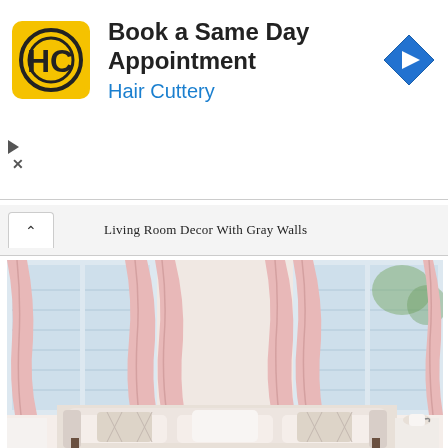[Figure (other): Hair Cuttery advertisement banner. Yellow square logo with HC initials. Text: 'Book a Same Day Appointment / Hair Cuttery'. Blue diamond navigation icon on the right. Play and close controls at lower left.]
Living Room Decor With Gray Walls
[Figure (photo): Interior photo of a living room with blush pink/rose curtains framing tall windows. A white sofa with decorative pillows is visible in the foreground. Light, airy room with soft natural light.]